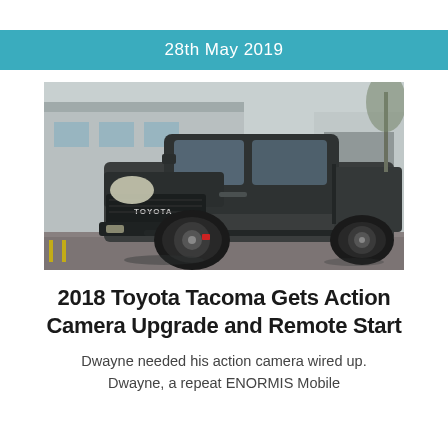28th May 2019
[Figure (photo): Dark grey 2018 Toyota Tacoma TRD pickup truck parked in a wet parking lot in front of a building, photographed from the front-left angle.]
2018 Toyota Tacoma Gets Action Camera Upgrade and Remote Start
Dwayne needed his action camera wired up. Dwayne, a repeat ENORMIS Mobile